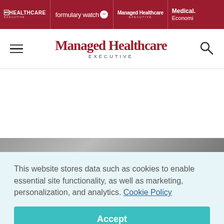HEALTHCARE EXECUTIVE | formulary watch | Managed Healthcare EXECUTIVE | Medical Economi
[Figure (logo): Managed Healthcare Executive logo with hamburger menu and search icon]
This website stores data such as cookies to enable essential site functionality, as well as marketing, personalization, and analytics. Cookie Policy
Accept
Deny